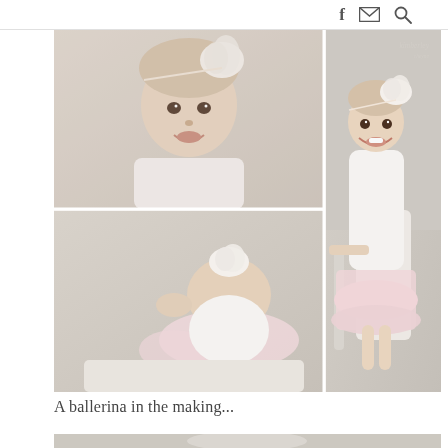f [mail icon] [search icon]
[Figure (photo): Photo collage of a baby girl dressed in a white long-sleeve onesie and pink tutu with a white feathered flower headband. Top-left: close-up portrait of baby's smiling face. Bottom-left: view from above of baby's back/head showing the headband flower. Right (large): full shot of the smiling baby sitting on a white chair holding the armrest, wearing the tutu. Watermark reads 'kimberley cheyne' in top-right corner.]
A ballerina in the making...
[Figure (photo): Partial view of bottom of page showing another photo of the baby, cropped.]